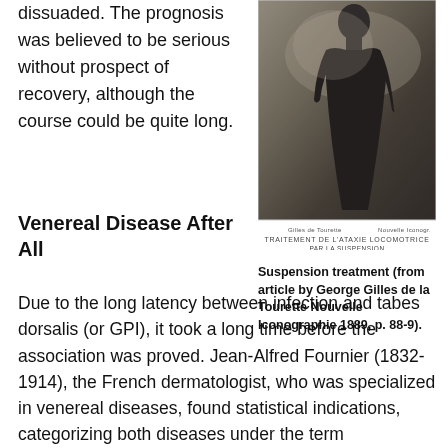dissuaded. The prognosis was believed to be serious without prospect of recovery, although the course could be quite long.
[Figure (photo): Black and white photograph of a person undergoing suspension treatment, shown from the side/back, with French caption text 'TRAITEMENT DE L'ATAXIE LOCOMOTRICE PAR LA SUSPENSION']
Suspension treatment (from article by George Gilles de la Tourette Nouvelle Iconographie 1889, p. 88-9).
Venereal Disease After All
Due to the long latency between infection and tabes dorsalis (or GPI), it took a long time before the association was proved. Jean-Alfred Fournier (1832-1914), the French dermatologist, who was specialized in venereal diseases, found statistical indications, categorizing both diseases under the term “parasyphilis” (1894). However, he continued the idea of hereditary transmission. Further proof for the